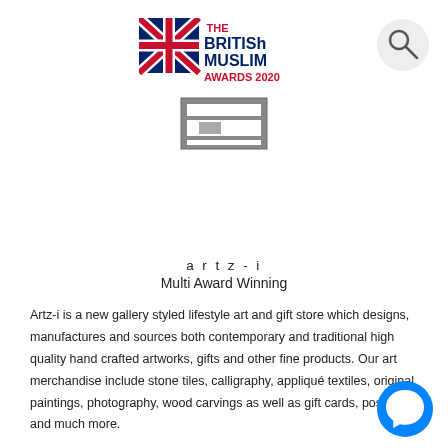[Figure (logo): The British Muslim Awards 2020 logo with Union Jack flag and text]
[Figure (logo): artz-i.com logo — grey square icon with text artz-i.com below]
[Figure (other): Search icon (magnifying glass) in a light grey circle, top right corner]
a r t z - i
Multi Award Winning
Artz-i is a new gallery styled lifestyle art and gift store which designs, manufactures and sources both contemporary and traditional high quality hand crafted artworks, gifts and other fine products. Our art merchandise include stone tiles, calligraphy, appliqué textiles, original paintings, photography, wood carvings as well as gift cards, posters and much more.
We also curate our merchandise with a sharp eye for traditional hand crafts from the worldís markets like the souks of Istanbul
[Figure (other): Facebook Messenger icon (blue circle with white lightning bolt/chat icon), bottom right corner]